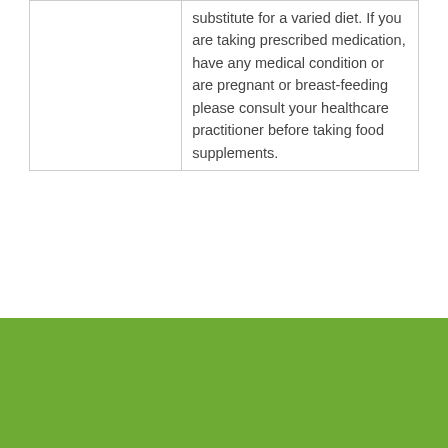|  | substitute for a varied diet. If you are taking prescribed medication, have any medical condition or are pregnant or breast-feeding please consult your healthcare practitioner before taking food supplements. |
[Figure (other): Green rectangular footer band at the bottom of the page]